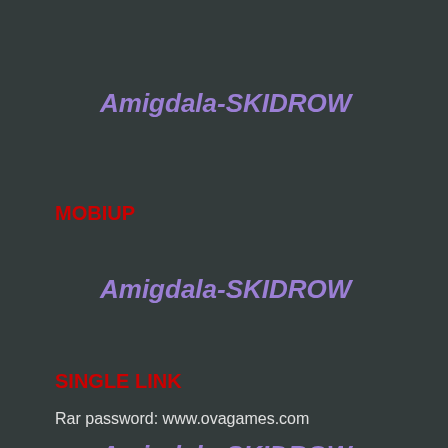Amigdala-SKIDROW
MOBIUP
Amigdala-SKIDROW
SINGLE LINK
Amigdala-SKIDROW
Rar password: www.ovagames.com